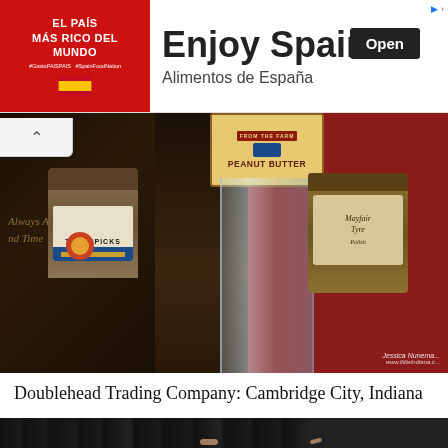[Figure (other): Advertisement banner for 'Enjoy Spain - Alimentos de España' with red left panel showing 'EL PAÍS MÁS RICO DEL MUNDO' text and Spanish flag, and white right panel with large 'Enjoy Spain' heading, 'Alimentos de España' subtext, and black 'Open' button]
[Figure (photo): Photo of antique/vintage items on a shelf at Doublehead Trading Company - includes a Toothpicks tin with blue stripe, a glass jar under a Peanut Butter label, and an old decorative tin on the right, with red wall background. Watermark: 'Jessica Nunem... www.littleIndiana.c...']
Doublehead Trading Company: Cambridge City, Indiana
[Figure (photo): Partial photo of dark wooden door panels/shutters, black painted wood slats visible]